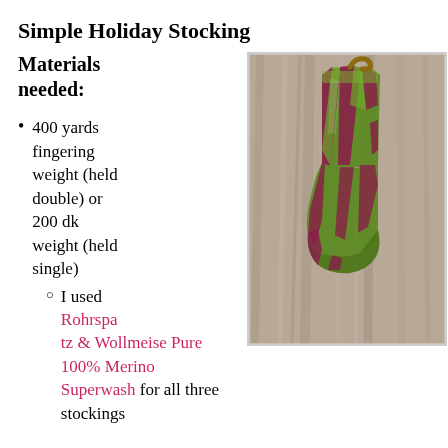Simple Holiday Stocking
Materials needed:
400 yards fingering weight (held double) or 200 dk weight (held single)
I used Rohrspatz & Wollmeise Pure 100% Merino Superwash for all three stockings
[Figure (photo): A green and burgundy/purple hand-knitted Christmas stocking lying on a wooden surface. The stocking has a loop at the top for hanging.]